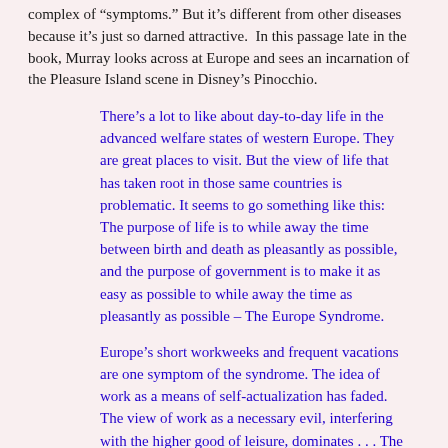complex of "symptoms." But it's different from other diseases because it's just so darned attractive. In this passage late in the book, Murray looks across at Europe and sees an incarnation of the Pleasure Island scene in Disney's Pinocchio.
There's a lot to like about day-to-day life in the advanced welfare states of western Europe. They are great places to visit. But the view of life that has taken root in those same countries is problematic. It seems to go something like this: The purpose of life is to while away the time between birth and death as pleasantly as possible, and the purpose of government is to make it as easy as possible to while away the time as pleasantly as possible – The Europe Syndrome.
Europe's short workweeks and frequent vacations are one symptom of the syndrome. The idea of work as a means of self-actualization has faded. The view of work as a necessary evil, interfering with the higher good of leisure, dominates . . . The decline of fertility to far below replacement is another symptom. Children are seen as obstacles that get in the way of the good life . . .